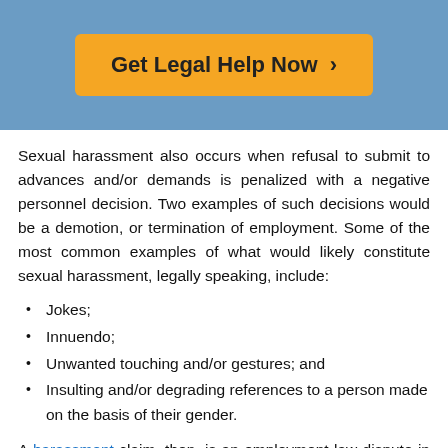[Figure (other): Blue banner with orange button labeled 'Get Legal Help Now >']
Sexual harassment also occurs when refusal to submit to advances and/or demands is penalized with a negative personnel decision. Two examples of such decisions would be a demotion, or termination of employment. Some of the most common examples of what would likely constitute sexual harassment, legally speaking, include:
Jokes;
Innuendo;
Unwanted touching and/or gestures; and
Insulting and/or degrading references to a person made on the basis of their gender.
A harassment claim, then, is an employment law dispute in which a worker experiences offensive or unwanted